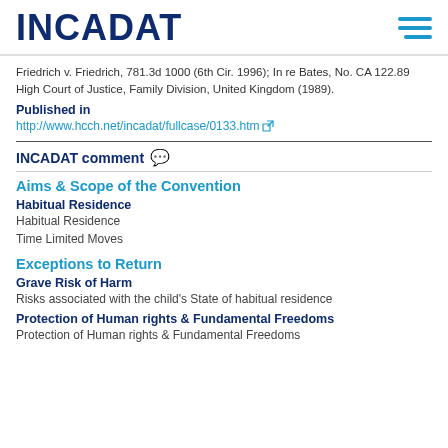INCADAT
Friedrich v. Friedrich, 781.3d 1000 (6th Cir. 1996); In re Bates, No. CA 122.89 High Court of Justice, Family Division, United Kingdom (1989).
Published in
http://www.hcch.net/incadat/fullcase/0133.htm
INCADAT comment
Aims & Scope of the Convention
Habitual Residence
Habitual Residence
Time Limited Moves
Exceptions to Return
Grave Risk of Harm
Risks associated with the child's State of habitual residence
Protection of Human rights & Fundamental Freedoms
Protection of Human rights & Fundamental Freedoms